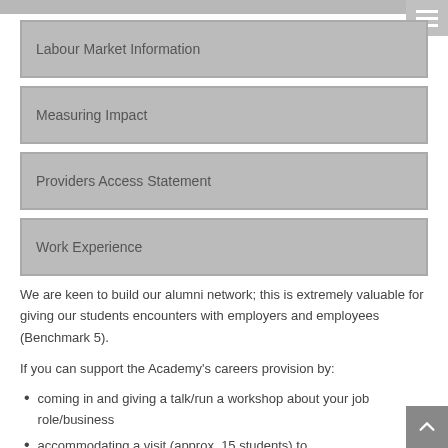Labour Market Information
Measuring Impact
Providers Access Statement
Work Experience
We are keen to build our alumni network; this is extremely valuable for giving our students encounters with employers and employees (Benchmark 5).
If you can support the Academy's careers provision by:
coming in and giving a talk/run a workshop about your job role/business
accommodating a visit (approx. 15 students) to